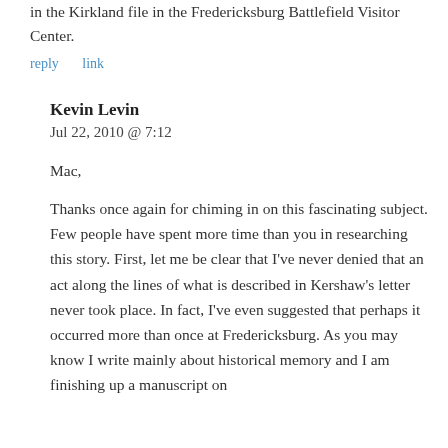in the Kirkland file in the Fredericksburg Battlefield Visitor Center.
reply   link
Kevin Levin
Jul 22, 2010 @ 7:12
Mac,
Thanks once again for chiming in on this fascinating subject. Few people have spent more time than you in researching this story. First, let me be clear that I've never denied that an act along the lines of what is described in Kershaw's letter never took place. In fact, I've even suggested that perhaps it occurred more than once at Fredericksburg. As you may know I write mainly about historical memory and I am finishing up a manuscript on